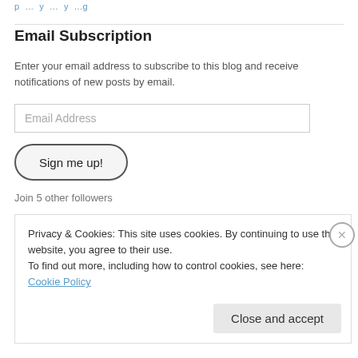p … y … y …g
Email Subscription
Enter your email address to subscribe to this blog and receive notifications of new posts by email.
Join 5 other followers
Privacy & Cookies: This site uses cookies. By continuing to use this website, you agree to their use.
To find out more, including how to control cookies, see here: Cookie Policy